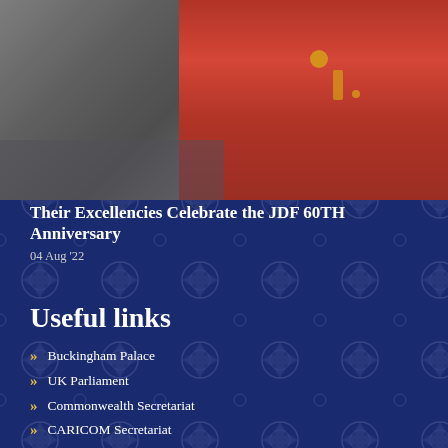[Figure (photo): Photo showing people in formal and military uniforms, with red military dress uniform visible on the right side]
Their Excellencies Celebrate the JDF 60TH Anniversary
04 Aug '22
Useful links
Buckingham Palace
UK Parliament
Commonwealth Secretariat
CARICOM Secretariat
Jamaican Parliament
U.W.I
Governor-General's Programme for Excellence
Other Government Links
Jamaica Information Service